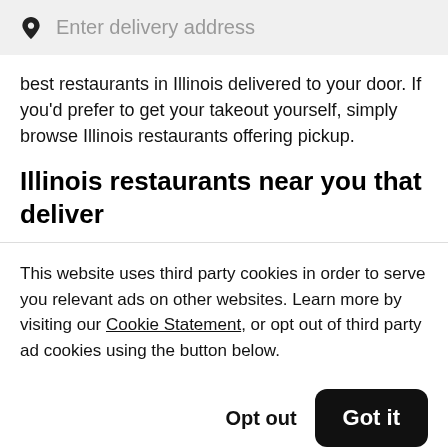[Figure (screenshot): Search bar with map pin icon and placeholder text 'Enter delivery address' on a light grey background]
best restaurants in Illinois delivered to your door. If you'd prefer to get your takeout yourself, simply browse Illinois restaurants offering pickup.
Illinois restaurants near you that deliver
This website uses third party cookies in order to serve you relevant ads on other websites. Learn more by visiting our Cookie Statement, or opt out of third party ad cookies using the button below.
Opt out
Got it